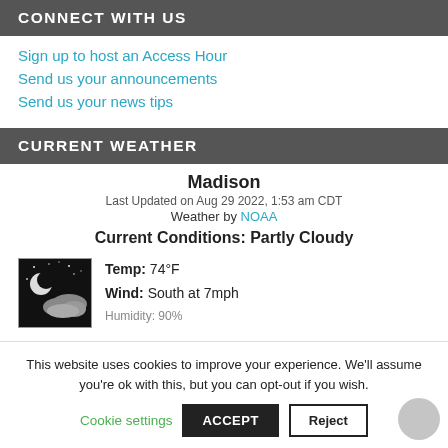CONNECT WITH US
Sign up to host an Access Hour
Send us your announcements
Send us your news tips
CURRENT WEATHER
Madison
Last Updated on Aug 29 2022, 1:53 am CDT
Weather by NOAA
Current Conditions: Partly Cloudy
[Figure (photo): Night sky partly cloudy weather icon showing moon and clouds]
Temp: 74°F
Wind: South at 7mph
This website uses cookies to improve your experience. We'll assume you're ok with this, but you can opt-out if you wish.
Cookie settings   ACCEPT   Reject